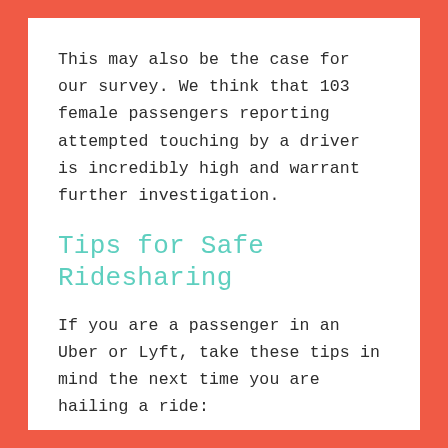This may also be the case for our survey. We think that 103 female passengers reporting attempted touching by a driver is incredibly high and warrant further investigation.
Tips for Safe Ridesharing
If you are a passenger in an Uber or Lyft, take these tips in mind the next time you are hailing a ride: